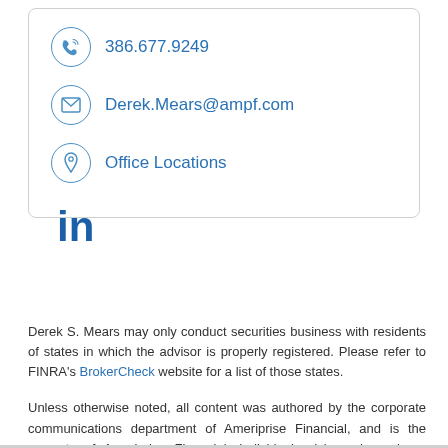386.677.9249
Derek.Mears@ampf.com
Office Locations
[Figure (logo): LinkedIn logo icon in blue]
Derek S. Mears may only conduct securities business with residents of states in which the advisor is properly registered. Please refer to FINRA's BrokerCheck website for a list of those states.
Unless otherwise noted, all content was authored by the corporate communications department of Ameriprise Financial, and is the property of Ameriprise Financial. Individual advisors have been granted permission to post content on this site, but are not the More…